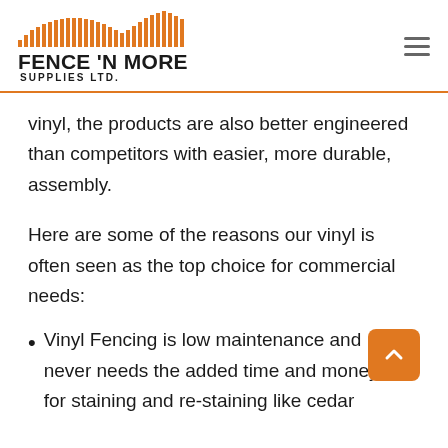FENCE 'N MORE SUPPLIES LTD.
vinyl, the products are also better engineered than competitors with easier, more durable, assembly.
Here are some of the reasons our vinyl is often seen as the top choice for commercial needs:
Vinyl Fencing is low maintenance and never needs the added time and money for staining and re-staining like cedar